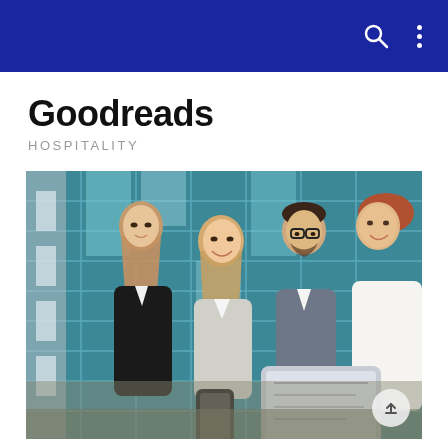Goodreads
HOSPITALITY
[Figure (photo): Four young business professionals in formal attire gathered outdoors in front of a glass building, looking at a tablet device. Two women and two men, one woman smiling broadly, another looking down at the tablet, a bearded man with glasses looking at the tablet, and a man on the right smiling.]